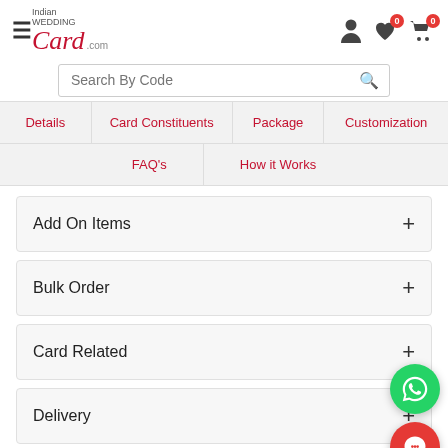IndianWeddingCard.com
Search By Code
Details
Card Constituents
Package
Customization
FAQ's
How it Works
Add On Items
Bulk Order
Card Related
Delivery
E Card
General